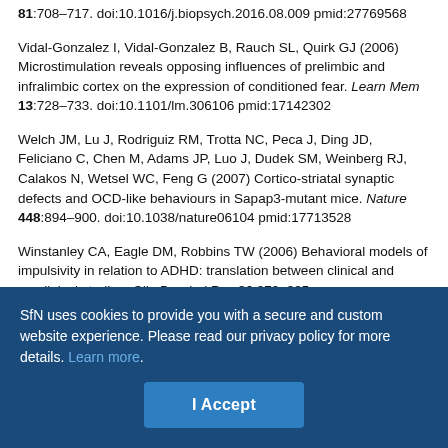81:708–717. doi:10.1016/j.biopsych.2016.08.009 pmid:27769568
Vidal-Gonzalez I, Vidal-Gonzalez B, Rauch SL, Quirk GJ (2006) Microstimulation reveals opposing influences of prelimbic and infralimbic cortex on the expression of conditioned fear. Learn Mem 13:728–733. doi:10.1101/lm.306106 pmid:17142302
Welch JM, Lu J, Rodriguiz RM, Trotta NC, Peca J, Ding JD, Feliciano C, Chen M, Adams JP, Luo J, Dudek SM, Weinberg RJ, Calakos N, Wetsel WC, Feng G (2007) Cortico-striatal synaptic defects and OCD-like behaviours in Sapap3-mutant mice. Nature 448:894–900. doi:10.1038/nature06104 pmid:17713528
Winstanley CA, Eagle DM, Robbins TW (2006) Behavioral models of impulsivity in relation to ADHD: translation between clinical and preclinical studies. Clin Psychol Rev 26:379–395. doi:10.1016/j.cpr.2006.01.001 pmid:16504359
SfN uses cookies to provide you with a secure and custom website experience. Please read our privacy policy for more details. Learn more